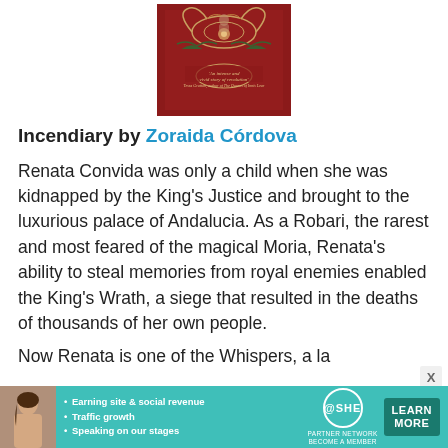[Figure (photo): Book cover of 'Incendiary' — dark red ornate design with floral/scroll motifs and text on the cover]
Incendiary by Zoraida Córdova
Renata Convida was only a child when she was kidnapped by the King's Justice and brought to the luxurious palace of Andalucia. As a Robari, the rarest and most feared of the magical Moria, Renata's ability to steal memories from royal enemies enabled the King's Wrath, a siege that resulted in the deaths of thousands of her own people.
Now Renata is one of the Whispers, a la in...
[Figure (advertisement): SHE Partner Network advertisement banner with teal background, woman photo, bullet points about earning site & social revenue, traffic growth, speaking on stages, and a Learn More button]